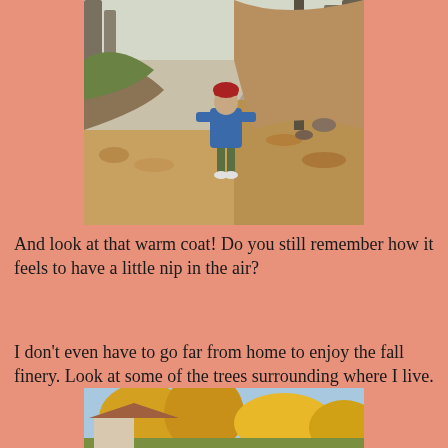[Figure (photo): A child in a blue jacket and red hat standing on a dirt trail in an autumn forest with fallen leaves on the ground and bare trees on a hillside.]
And look at that warm coat!  Do you still remember how it feels to have a little nip in the air?
I don't even have to go far from home to enjoy the fall finery.  Look at some of the trees surrounding where I live.
[Figure (photo): Partial view of trees with autumn foliage surrounding a residential area.]